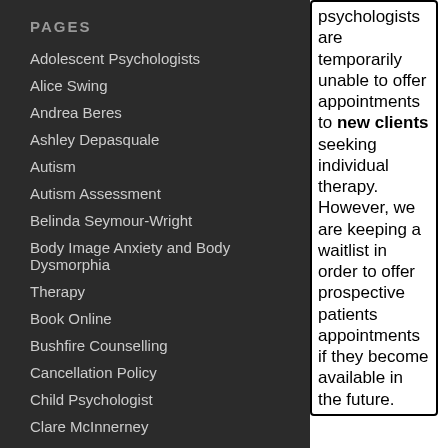PAGES
Adolescent Psychologists
Alice Swing
Andrea Beres
Ashley Depasquale
Autism
Autism Assessment
Belinda Seymour-Wright
Body Image Anxiety and Body Dysmorphia
Therapy
Book Online
Bushfire Counselling
Cancellation Policy
Child Psychologist
Clare McInnerney
Cognitive Assessments
psychologists are temporarily unable to offer appointments to new clients seeking individual therapy. However, we are keeping a waitlist in order to offer prospective patients appointments if they become available in the future.